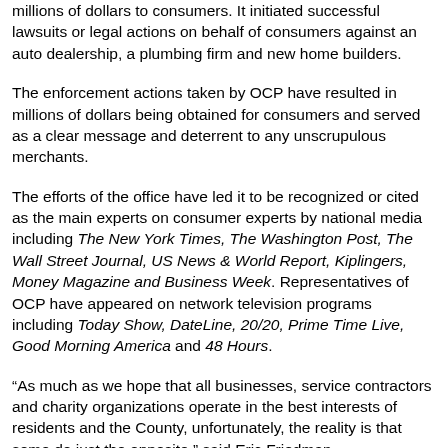millions of dollars to consumers. It initiated successful lawsuits or legal actions on behalf of consumers against an auto dealership, a plumbing firm and new home builders.
The enforcement actions taken by OCP have resulted in millions of dollars being obtained for consumers and served as a clear message and deterrent to any unscrupulous merchants.
The efforts of the office have led it to be recognized or cited as the main experts on consumer experts by national media including The New York Times, The Washington Post, The Wall Street Journal, US News & World Report, Kiplingers, Money Magazine and Business Week. Representatives of OCP have appeared on network television programs including Today Show, DateLine, 20/20, Prime Time Live, Good Morning America and 48 Hours.
“As much as we hope that all businesses, service contractors and charity organizations operate in the best interests of residents and the County, unfortunately, the reality is that some do just the opposite,” said Eric Friedman, who has been the OCP director since 2007.